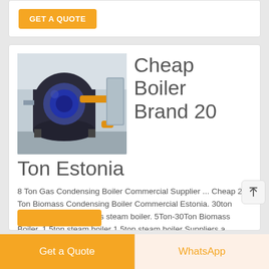GET A QUOTE
Cheap Boiler Brand 20 Ton Estonia
[Figure (photo): Industrial boiler equipment in a warehouse setting, showing a large dark cylindrical boiler with yellow gas pipes]
8 Ton Gas Condensing Boiler Commercial Supplier ... Cheap 20 Ton Biomass Condensing Boiler Commercial Estonia. 30ton industrial wood biomass steam boiler. 5Ton-30Ton Biomass Boiler. 1.5ton steam boiler 1.5ton steam boiler Suppliers a. 30Ton steam boil. 30 tons per hour of steam boiler is a high capacity
Get a Quote
WhatsApp